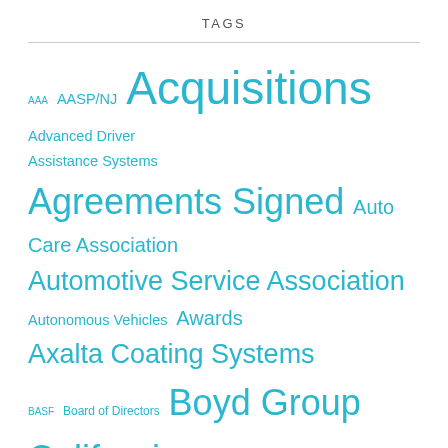TAGS
[Figure (infographic): Tag cloud with automotive industry terms in varying font sizes in teal/cyan color. Tags include: AAA, AASP/NJ, Acquisitions, Advanced Driver Assistance Systems, Agreements Signed, Auto Care Association, Automotive Service Association, Autonomous Vehicles, Awards, Axalta Coating Systems, BASF, Board of Directors, Boyd Group, California, Canada, Career and Technical Education, CARSTAR, CCC, Collision Repair Education Foundation, Copart, Coronavirus, Diagnostics, Donations, Earnings, Florida, General Motors, I-CAR, Insurance Auto Auctions, Lawsuits, legislation, LKQ Corporation, Mitchell International, National Auto Body Council, Network Affiliations, New Jersey, Non-OEM Parts]